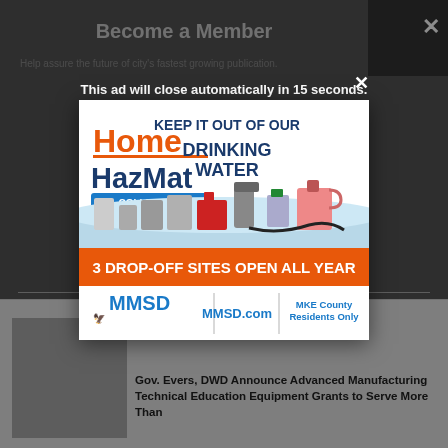Become a Member
Help assure the future of city's fastest growing publication.
This ad will close automatically in 15 seconds.
[Figure (illustration): Home HazMat Collection advertisement. Text reads: KEEP IT OUT OF OUR DRINKING WATER. 3 DROP-OFF SITES OPEN ALL YEAR. MMSD.com. MKE County Residents Only. Shows various hazardous containers with water splash background.]
Tired of seeing banner ads on Urban Milwaukee? Become a member for $9/month.
Gov. Evers, DWD Announce Advanced Manufacturing Technical Education Equipment Grants to Serve More Than
Buy a G...